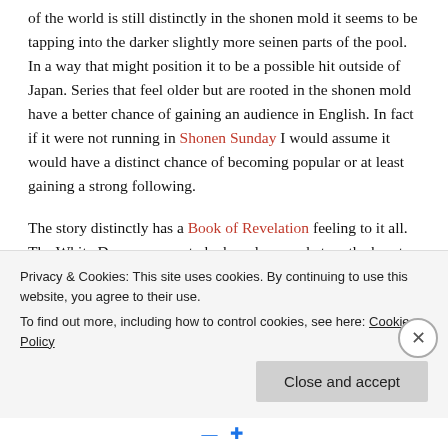of the world is still distinctly in the shonen mold it seems to be tapping into the darker slightly more seinen parts of the pool. In a way that might position it to be a possible hit outside of Japan. Series that feel older but are rooted in the shonen mold have a better chance of gaining an audience in English. In fact if it were not running in Shonen Sunday I would assume it would have a distinct chance of becoming popular or at least gaining a strong following.
The story distinctly has a Book of Revelation feeling to it all. The White Demon seems to be based somewhat on the beast from the sea and the church in this world has distinctly Christian feel. But at the same time the world seems to have a very gray morality. The first immortal that
Privacy & Cookies: This site uses cookies. By continuing to use this website, you agree to their use.
To find out more, including how to control cookies, see here: Cookie Policy
Close and accept